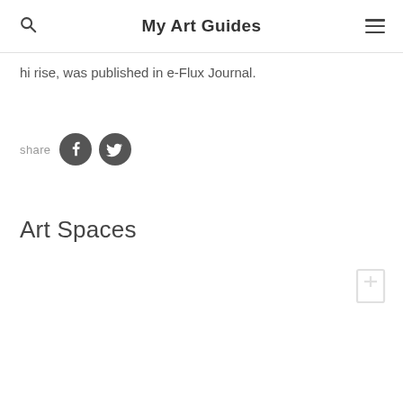My Art Guides
Hi rise, was published in e-Flux Journal.
share
[Figure (illustration): Facebook and Twitter social share icons (dark circular buttons)]
Art Spaces
[Figure (illustration): Bookmark / save icon (light gray outline)]